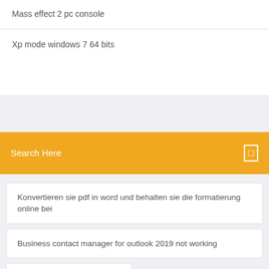Mass effect 2 pc console
Xp mode windows 7 64 bits
Search Here
Konvertieren sie pdf in word und behalten sie die formatierung online bei
Business contact manager for outlook 2019 not working
Bruder software mfc-j5620dw
Hp laptop camera driver for windows 7 download